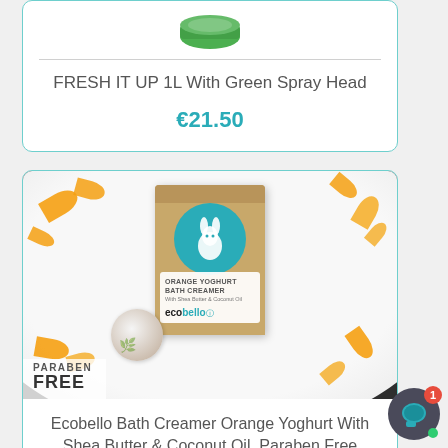[Figure (photo): Green spray cap / lid of a product container, partially visible at top of card]
FRESH IT UP 1L With Green Spray Head
€21.50
[Figure (photo): Ecobello Bath Creamer Orange Yoghurt product: kraft paper bag with teal rabbit logo circle, white label reading ecobello, bath bomb on white plate surrounded by orange slices. PARABEN FREE badge in lower left.]
Ecobello Bath Creamer Orange Yoghurt With Shea Butter & Coconut Oil, Paraben Free